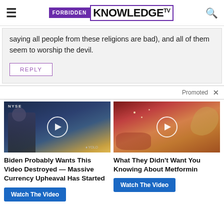FORBIDDEN KNOWLEDGE TV
saying all people from these religions are bad), and all of them seem to worship the devil.
REPLY
Promoted X
[Figure (screenshot): Video thumbnail showing man being interviewed at NYSE studio with play button overlay]
Biden Probably Wants This Video Destroyed — Massive Currency Upheaval Has Started
Watch The Video
[Figure (screenshot): Video thumbnail showing medical/biological imagery with play button overlay]
What They Didn't Want You Knowing About Metformin
Watch The Video